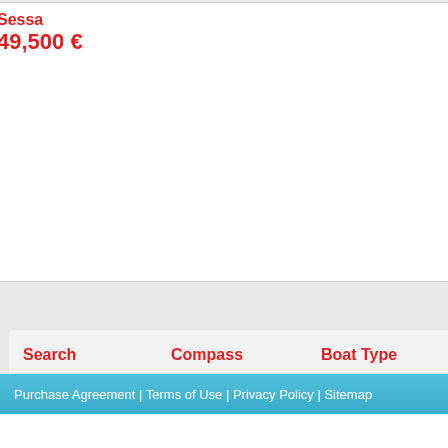Sessa
49,500 €
Na
00
Search
New Boats
Used Boats
Rental Boats
Place Ad
Sell Your Boat
Edit Your Ad
Open a Store
İlanı Dopingle
Compass
Maintenance and Security
Boat Shows
Publications
News
Wheather
Winterizing A Boat
How to buy a boat
Banner Area
Video
Sailing Clubs
Boat Type
Wooden Boats
Fisherman Boat
Trailers
Commercial Boat
Gulet
Catamaran
Mega Yacht
Motor Boats
Custom Made
Inflatable Boat
Power Boats
Trawler
Tender
Sail Boat
Fiber Boat
Jetskis
Equip
Acces
Boat Ca
Marine
Electro
Gear
Water
Textile
Yacht E
Sail Eq
Marin
Marina
Dopin
Purchase Agreement | Terms of Use | Privacy Policy | Sitemap